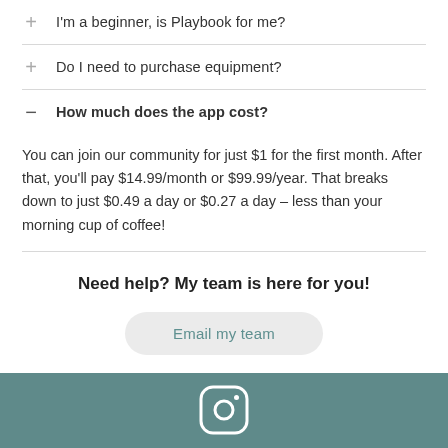+ I'm a beginner, is Playbook for me?
+ Do I need to purchase equipment?
— How much does the app cost?
You can join our community for just $1 for the first month. After that, you'll pay $14.99/month or $99.99/year. That breaks down to just $0.49 a day or $0.27 a day – less than your morning cup of coffee!
Need help? My team is here for you!
Email my team
[Figure (illustration): Instagram logo icon in white outline on teal background]